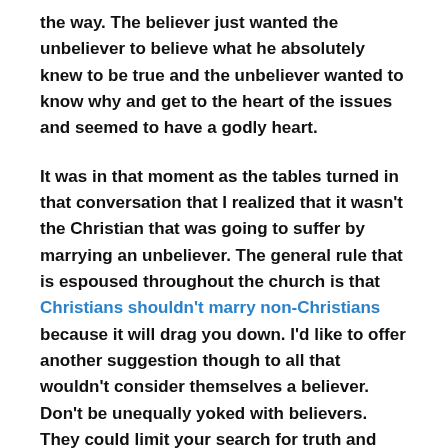the way. The believer just wanted the unbeliever to believe what he absolutely knew to be true and the unbeliever wanted to know why and get to the heart of the issues and seemed to have a godly heart.
It was in that moment as the tables turned in that conversation that I realized that it wasn't the Christian that was going to suffer by marrying an unbeliever. The general rule that is espoused throughout the church is that Christians shouldn't marry non-Christians because it will drag you down. I'd like to offer another suggestion though to all that wouldn't consider themselves a believer. Don't be unequally yoked with believers. They could limit your search for truth and make it less likely that you will ever find Jesus or truth on your own. There is a chance that they will be full of ignorance and arrogance that their belief